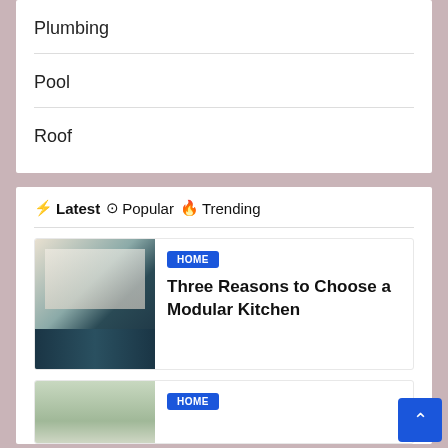Plumbing
Pool
Roof
⚡ Latest⊙ Popular🔥 Trending
HOME
Three Reasons to Choose a Modular Kitchen
HOME